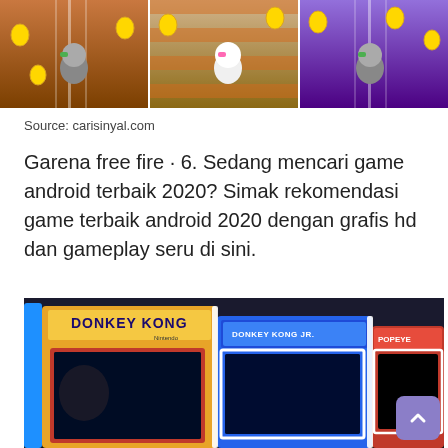[Figure (screenshot): Three side-by-side mobile game screenshots showing animated cat characters running on colorful tracks with gold coins]
Source: carisinyal.com
Garena free fire · 6. Sedang mencari game android terbaik 2020? Simak rekomendasi game terbaik android 2020 dengan grafis hd dan gameplay seru di sini.
[Figure (photo): Photo of classic arcade game cabinets including Donkey Kong, Donkey Kong Junior, and Popeye machines lined up in a row]